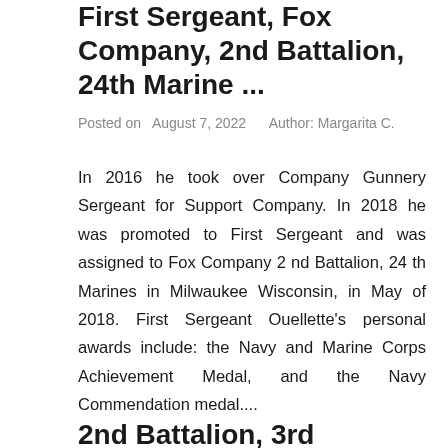First Sergeant, Fox Company, 2nd Battalion, 24th Marine ...
Posted on  August 7, 2022     Author: Margarita C.
In 2016 he took over Company Gunnery Sergeant for Support Company. In 2018 he was promoted to First Sergeant and was assigned to Fox Company 2 nd Battalion, 24 th Marines in Milwaukee Wisconsin, in May of 2018. First Sergeant Ouellette's personal awards include: the Navy and Marine Corps Achievement Medal, and the Navy Commendation medal....
2nd Battalion, 3rd Marines (2/3) on